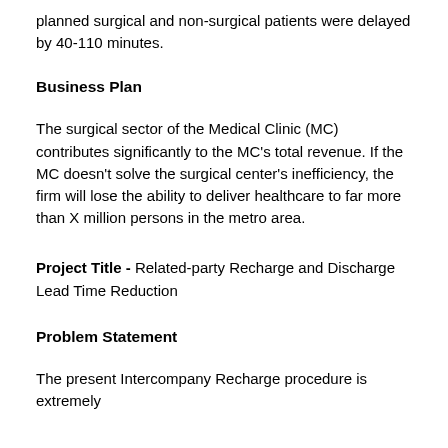planned surgical and non-surgical patients were delayed by 40-110 minutes.
Business Plan
The surgical sector of the Medical Clinic (MC) contributes significantly to the MC's total revenue. If the MC doesn't solve the surgical center's inefficiency, the firm will lose the ability to deliver healthcare to far more than X million persons in the metro area.
Project Title - Related-party Recharge and Discharge Lead Time Reduction
Problem Statement
The present Intercompany Recharge procedure is extremely